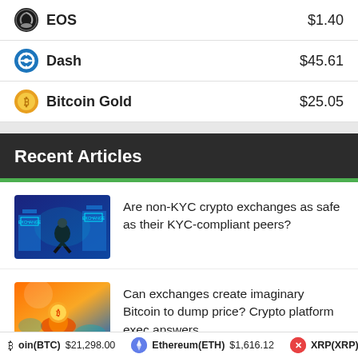EOS $1.40
Dash $45.61
Bitcoin Gold $25.05
Recent Articles
Are non-KYC crypto exchanges as safe as their KYC-compliant peers?
Can exchanges create imaginary Bitcoin to dump price? Crypto platform exec answers
Bitcoin(BTC) $21,298.00   Ethereum(ETH) $1,616.12   XRP(XRP)